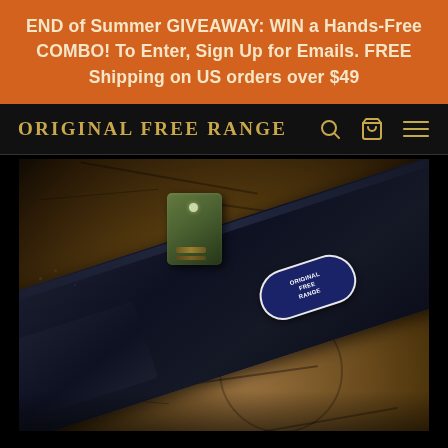END of Summer GIVEAWAY: WIN a Hands-Free COMBO! To Enter, Sign Up for Emails. FREE Shipping on US orders over $49
ORIGINAL FREE RANGE
[Figure (photo): Close-up product photo of a dark navy/black hat with a green buckle/clip attachment, resting on a cracked wood surface. A blue logo patch is visible on the hat brim.]